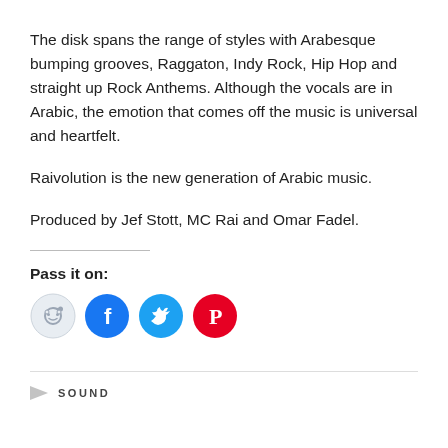The disk spans the range of styles with Arabesque bumping grooves, Raggaton, Indy Rock, Hip Hop and straight up Rock Anthems. Although the vocals are in Arabic, the emotion that comes off the music is universal and heartfelt.
Raivolution is the new generation of Arabic music.
Produced by Jef Stott, MC Rai and Omar Fadel.
Pass it on:
[Figure (infographic): Four social sharing icon buttons: Reddit (light blue circle), Facebook (blue circle with f), Twitter (cyan circle with bird), Pinterest (red circle with P)]
SOUND